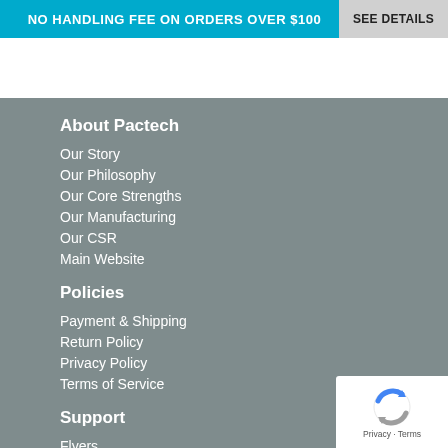NO HANDLING FEE ON ORDERS OVER $100  SEE DETAILS
About Pactech
Our Story
Our Philosophy
Our Core Strengths
Our Manufacturing
Our CSR
Main Website
Policies
Payment & Shipping
Return Policy
Privacy Policy
Terms of Service
Support
Flyers
Resources
[Figure (logo): reCAPTCHA badge with circular arrow logo and Privacy - Terms text]